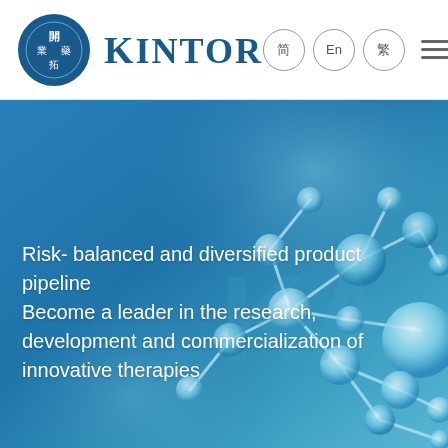[Figure (logo): Kintor Pharmaceutical logo: circular blue badge with Chinese characters and the word KINTOR in bold blue serif font]
简  En  繁  ≡
[Figure (photo): Hero banner with blue gradient background showing 3D molecular structure model (spheres and connecting rods) on the right side, with white text overlay on the left]
Risk- balanced and diversified product pipeline
Become a leader in the research, development and commercialization of innovative therapies